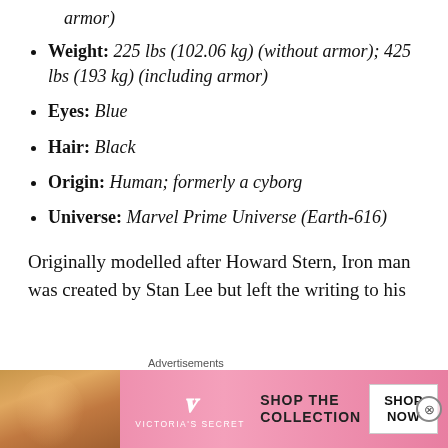armor)
Weight: 225 lbs (102.06 kg) (without armor); 425 lbs (193 kg) (including armor)
Eyes: Blue
Hair: Black
Origin: Human; formerly a cyborg
Universe: Marvel Prime Universe (Earth-616)
Originally modelled after Howard Stern, Iron man was created by Stan Lee but left the writing to his
[Figure (screenshot): Victoria's Secret advertisement banner with model photo, VS logo, 'SHOP THE COLLECTION' text and 'SHOP NOW' button on pink background]